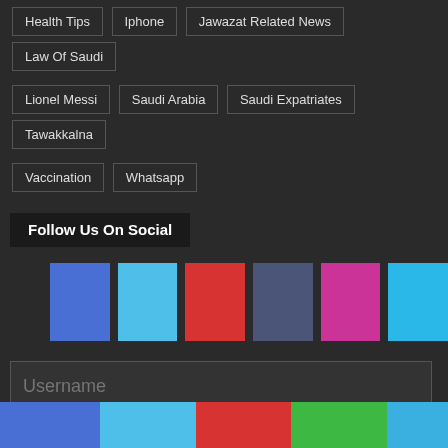Health Tips
Iphone
Jawazat Related News
Law Of Saudi
Lionel Messi
Saudi Arabia
Saudi Expatriates
Tawakkalna
Vaccination
Whatsapp
Follow Us On Social
[Figure (infographic): Six colored social media icon squares: blue (Facebook), light blue (Twitter), red (Pinterest/YouTube), dark slate (LinkedIn), pink/magenta (Instagram), sky blue (Telegram)]
Username
Password  Forget?
Remember me
[Figure (infographic): Bottom share bar with four colored sections: blue, light blue, red, green, and partial sky blue]